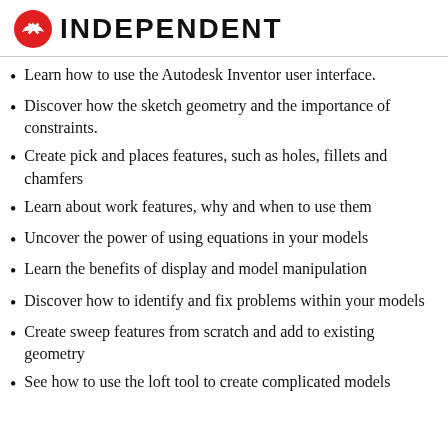INDEPENDENT
Learn how to use the Autodesk Inventor user interface.
Discover how the sketch geometry and the importance of constraints.
Create pick and places features, such as holes, fillets and chamfers
Learn about work features, why and when to use them
Uncover the power of using equations in your models
Learn the benefits of display and model manipulation
Discover how to identify and fix problems within your models
Create sweep features from scratch and add to existing geometry
See how to use the loft tool to create complicated models